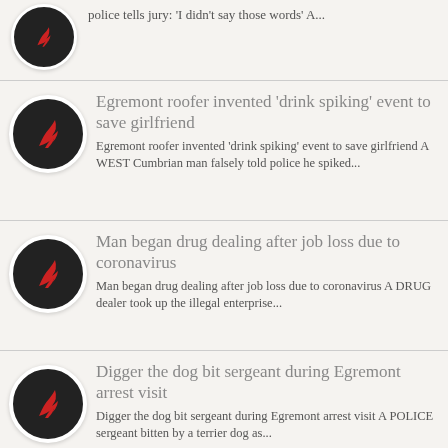police tells jury: 'I didn't say those words' A...
Egremont roofer invented 'drink spiking' event to save girlfriend
Egremont roofer invented 'drink spiking' event to save girlfriend A WEST Cumbrian man falsely told police he spiked...
Man began drug dealing after job loss due to coronavirus
Man began drug dealing after job loss due to coronavirus A DRUG dealer took up the illegal enterprise...
Digger the dog bit sergeant during Egremont arrest visit
Digger the dog bit sergeant during Egremont arrest visit A POLICE sergeant bitten by a terrier dog as...